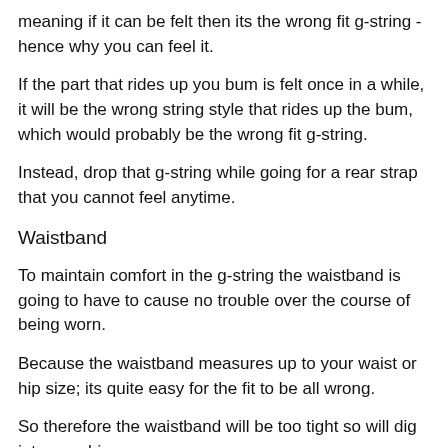meaning if it can be felt then its the wrong fit g-string - hence why you can feel it.
If the part that rides up you bum is felt once in a while, it will be the wrong string style that rides up the bum, which would probably be the wrong fit g-string.
Instead, drop that g-string while going for a rear strap that you cannot feel anytime.
Waistband
To maintain comfort in the g-string the waistband is going to have to cause no trouble over the course of being worn.
Because the waistband measures up to your waist or hip size; its quite easy for the fit to be all wrong.
So therefore the waistband will be too tight so will dig into your hips.